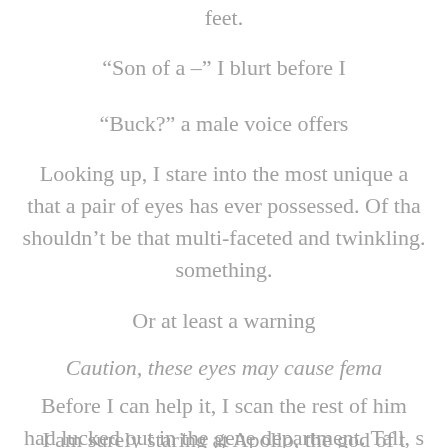feet.
“Son of a –” I blurt before I
“Buck?” a male voice offers
Looking up, I stare into the most unique a that a pair of eyes has ever possessed. Of tha shouldn’t be that multi-faceted and twinkling. something.
Or at least a warning
Caution, these eyes may cause fema
Before I can help it, I scan the rest of him had lucked out in the gene department. Tall, s colored hair that had natural highlights that co airport light, broad shoulders, slim hips, long l with a bright, white smi
I am surely staring at Apollo, the god of t